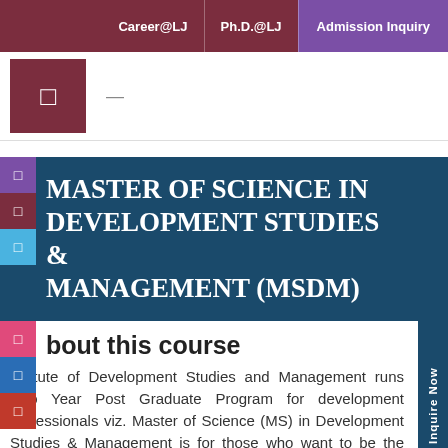Career@LJ  Ph.D.@LJ  Admission Inquiry
[Figure (logo): University logo box with square icon on dark red background]
MASTER OF SCIENCE IN DEVELOPMENT STUDIES & MANAGEMENT (MSDM)
About this course
Institute of Development Studies and Management runs Two Year Post Graduate Program for development professionals viz. Master of Science (MS) in Development Studies & Management is for those who want to be the change-makers; it is for those who want to strive to create an equitable and just society; it is for those ignited and innovative youths who think from the mind as a hardcore